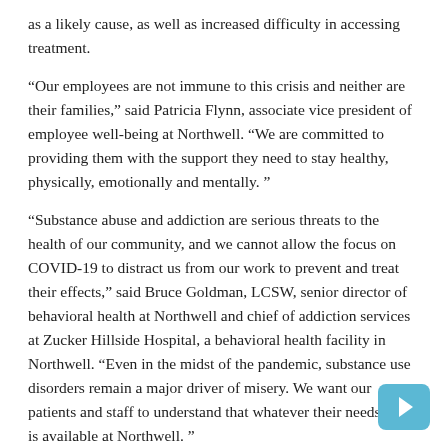as a likely cause, as well as increased difficulty in accessing treatment.
“Our employees are not immune to this crisis and neither are their families,” said Patricia Flynn, associate vice president of employee well-being at Northwell. “We are committed to providing them with the support they need to stay healthy, physically, emotionally and mentally.”
“Substance abuse and addiction are serious threats to the health of our community, and we cannot allow the focus on COVID-19 to distract us from our work to prevent and treat their effects,” said Bruce Goldman, LCSW, senior director of behavioral health at Northwell and chief of addiction services at Zucker Hillside Hospital, a behavioral health facility in Northwell. “Even in the midst of the pandemic, substance use disorders remain a major driver of misery. We want our patients and staff to understand that whatever their needs, help is available at Northwell.”
About Northwell Health
Northwell Health is the largest healthcare provider and private